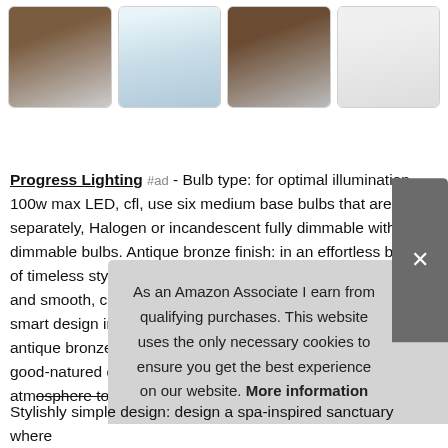[Figure (photo): Four product thumbnail images in a row showing bathroom lighting fixtures and settings]
Progress Lighting #ad - Bulb type: for optimal illumination, 100w max LED, cfl, use six medium base bulbs that are sold separately, Halogen or incandescent fully dimmable with dimmable bulbs. Antique bronze finish: in an effortless blend of timeless style and flawless function, rectangular backplate and smooth, curved arms delicately holding the light sources, smart design infused with a lighthearted, body, a beautiful antique bronze finish clads a rounded, fostering a simple, good-natured disposition ideal for stimulating a revitalizing atmosphere to restore your tired mind, and soul.
As an Amazon Associate I earn from qualifying purchases. This website uses the only necessary cookies to ensure you get the best experience on our website. More information
Stylishly simple design: design a spa-inspired sanctuary where